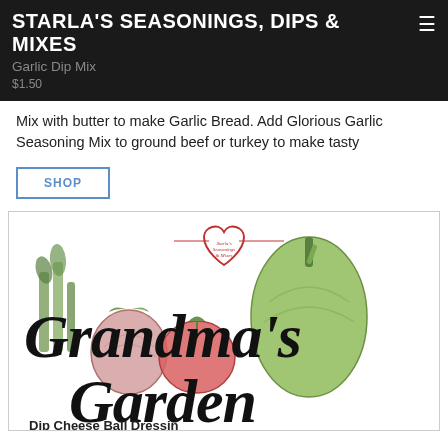STARLA'S SEASONINGS, DIPS & MIXES
Garlic Dip Mix
$1.50
Mix with butter to make Garlic Bread. Add Glorious Garlic Seasoning Mix to ground beef or turkey to make tasty
SHOP
[Figure (logo): Grandma's Garden Dip Cheese Ball Dressing logo with illustrated vegetables (celery, onion, tomato, green pepper) and Starla's Seasonings & Mixes heart logo]